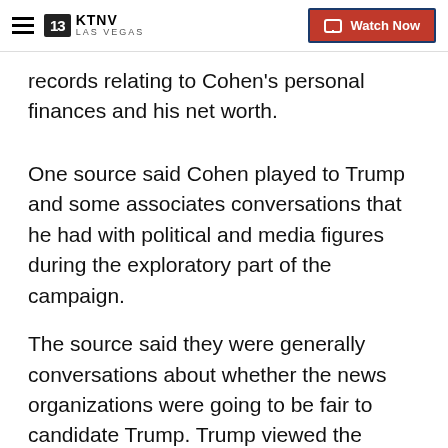KTNV LAS VEGAS | Watch Now
records relating to Cohen's personal finances and his net worth.
One source said Cohen played to Trump and some associates conversations that he had with political and media figures during the exploratory part of the campaign.
The source said they were generally conversations about whether the news organizations were going to be fair to candidate Trump. Trump viewed the media relationships as transactional, the source said.